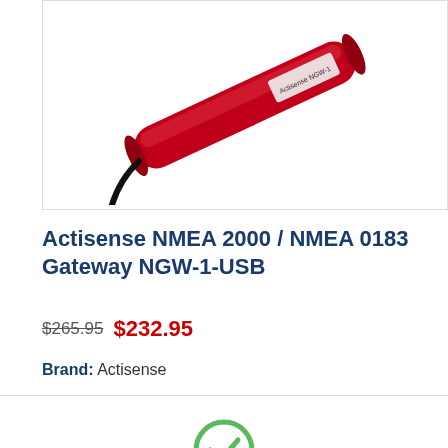[Figure (photo): Red Actisense NGW-1-USB device with a black cable, photographed at an angle on a white background.]
Actisense NMEA 2000 / NMEA 0183 Gateway NGW-1-USB
$265.95  $232.95
Brand:  Actisense
[Figure (illustration): Green circle checkmark icon for cookie consent dialog.]
This site uses cookies to store information on your computer. For further details see our cookie policy in the Privacy Policy link at the bottom of the page .
Ok